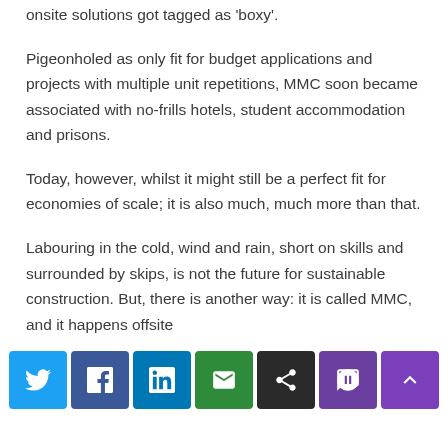onsite solutions got tagged as 'boxy'.
Pigeonholed as only fit for budget applications and projects with multiple unit repetitions, MMC soon became associated with no-frills hotels, student accommodation and prisons.
Today, however, whilst it might still be a perfect fit for economies of scale; it is also much, much more than that.
Labouring in the cold, wind and rain, short on skills and surrounded by skips, is not the future for sustainable construction. But, there is another way: it is called MMC, and it happens offsite
[Figure (infographic): Social media sharing buttons: Twitter (blue), Facebook (dark blue), LinkedIn (light blue), Email (green), Share (dark/black), Message (purple), Scroll to top (purple)]